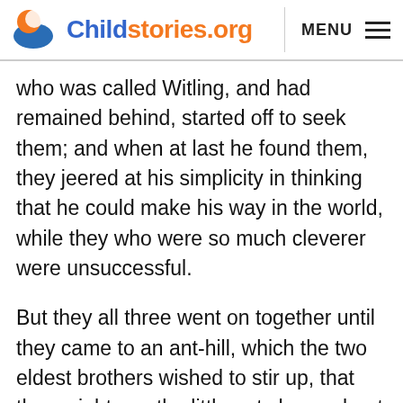Childstories.org  MENU
who was called Witling, and had remained behind, started off to seek them; and when at last he found them, they jeered at his simplicity in thinking that he could make his way in the world, while they who were so much cleverer were unsuccessful.
But they all three went on together until they came to an ant-hill, which the two eldest brothers wished to stir up, that they might see the little ants hurry about in their fright and carrying off their eggs, but Witling said, „Leave the little creatures alone. I will not suffer them